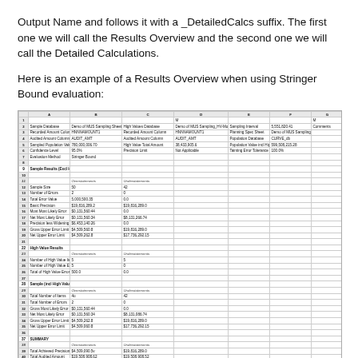Output Name and follows it with a _DetailedCalcs suffix. The first one we will call the Results Overview and the second one we will call the Detailed Calculations.
Here is an example of a Results Overview when using Stringer Bound evaluation:
[Figure (screenshot): Spreadsheet showing a Results Overview for Stringer Bound evaluation with columns for sample database info, overstatements, understatements, sampling interval, and comments. Rows include sample information, high value results, sample incl high values combined, and summary sections with various statistical fields.]